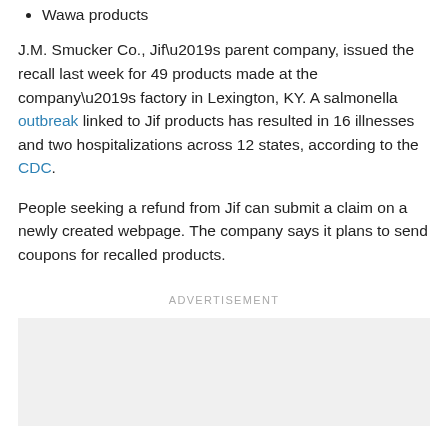Wawa products
J.M. Smucker Co., Jif’s parent company, issued the recall last week for 49 products made at the company’s factory in Lexington, KY. A salmonella outbreak linked to Jif products has resulted in 16 illnesses and two hospitalizations across 12 states, according to the CDC.
People seeking a refund from Jif can submit a claim on a newly created webpage. The company says it plans to send coupons for recalled products.
ADVERTISEMENT